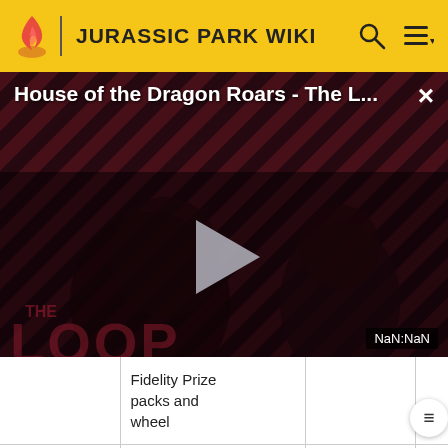JURASSIC PARK WIKI
[Figure (screenshot): Video player overlay showing 'House of the Dragon Roars - The L...' with a play button, striped red/black background, 'THE LOOP' text watermark, close button (×), and NaN:NaN timer indicator]
|  | Fidelity Prize packs and wheel |  |  |
| --- | --- | --- | --- |
|  | Fidelity Prize packs and wheel |  |  |
| Deinotherium | Completing Battle Stage 40 | 2017-10-26 | Sr |